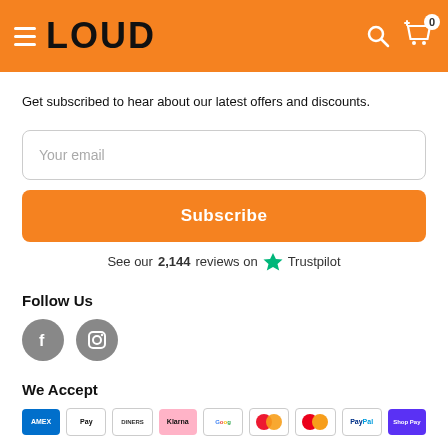LOUD
Get subscribed to hear about our latest offers and discounts.
Your email
Subscribe
See our 2,144 reviews on Trustpilot
Follow Us
[Figure (illustration): Facebook and Instagram social media icons as grey circles]
We Accept
[Figure (illustration): Payment method icons: American Express, Apple Pay, Diners, Klarna, Google Pay, Maestro, Mastercard, PayPal, Shop Pay]